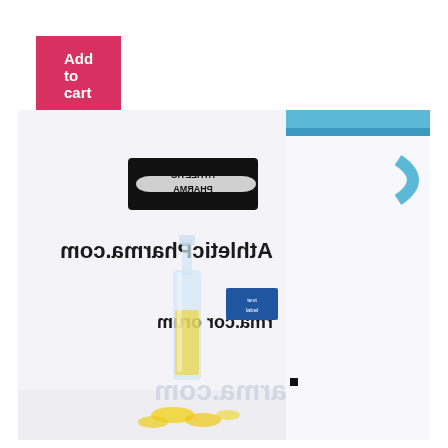Add to cart
[Figure (photo): Product photo showing pharmaceutical ampoules with yellow liquid and a white box labeled 'Athletic Pharma' and AtleticPharma.com, alongside a blue and white medication box labeled 'anon 250' with ingredient listing including testosterone propionate, testosterone phenylpropionate, testosterone isocaproate, and testosterone decanoate. The image appears mirrored/reversed. The watermark AthleticPharma.com is visible.]